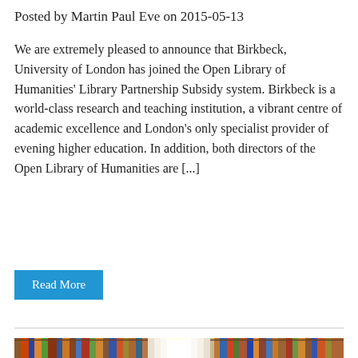Posted by Martin Paul Eve on 2015-05-13
We are extremely pleased to announce that Birkbeck, University of London has joined the Open Library of Humanities' Library Partnership Subsidy system. Birkbeck is a world-class research and teaching institution, a vibrant centre of academic excellence and London's only specialist provider of evening higher education. In addition, both directors of the Open Library of Humanities are [...]
Read More
[Figure (photo): A library aisle with tall bookshelves filled with colorful books on both sides, viewed from a low angle looking down the aisle.]